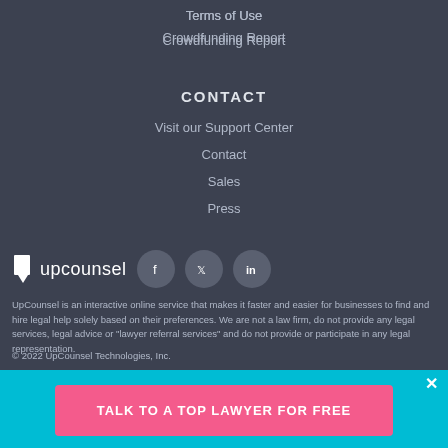Terms of Use
Crowdfunding Report
CONTACT
Visit our Support Center
Contact
Sales
Press
[Figure (logo): UpCounsel logo with document icon and social media buttons for Facebook, Twitter, and LinkedIn]
UpCounsel is an interactive online service that makes it faster and easier for businesses to find and hire legal help solely based on their preferences. We are not a law firm, do not provide any legal services, legal advice or "lawyer referral services" and do not provide or participate in any legal representation.
© 2022 UpCounsel Technologies, Inc.
TALK TO A TOP LAWYER FOR FREE